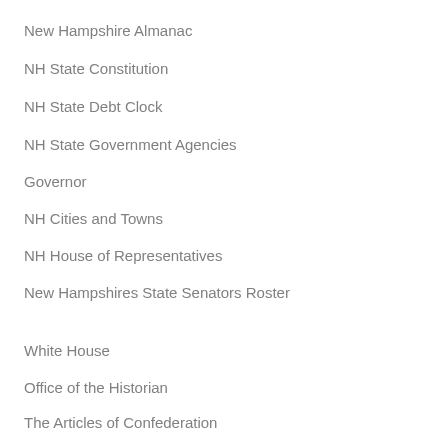New Hampshire Almanac
NH State Constitution
NH State Debt Clock
NH State Government Agencies
Governor
NH Cities and Towns
NH House of Representatives
New Hampshires State Senators Roster
White House
Office of the Historian
The Articles of Confederation
The Bill of Rights